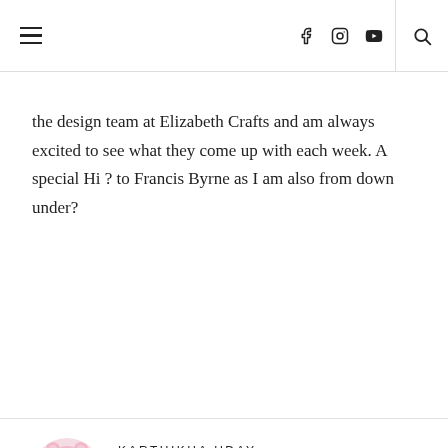Navigation bar with hamburger menu, social icons (Facebook, Instagram, YouTube), and search icon
the design team at Elizabeth Crafts and am always excited to see what they come up with each week. A special Hi ? to Francis Byrne as I am also from down under?
KARTHIKHA UDAY
August 16, 2017 at 1:06 am
Wow! So many beautiful creations! Lovely inspirations team!
I've created more of handmade cards as gifts to my family, friends and relatives on their birthdays and anniversaries. Apart from cards, I've also made a few pillow boxes to hold small